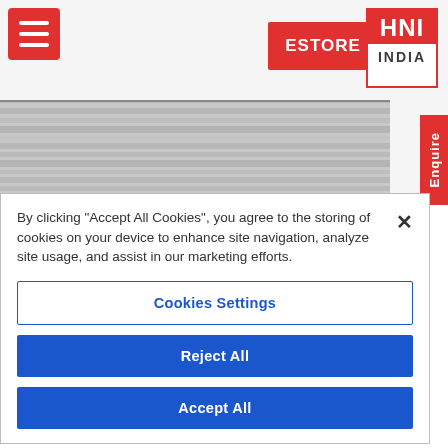[Figure (screenshot): HNI India website header with hamburger menu icon (red), ESTORE button (red), HNI INDIA logo (red bordered), fabric texture image background, and red Enquire tab on right side.]
By clicking "Accept All Cookies", you agree to the storing of cookies on your device to enhance site navigation, analyze site usage, and assist in our marketing efforts.
Cookies Settings
Reject All
Accept All